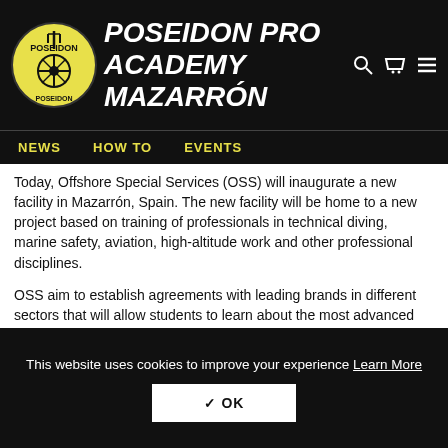POSEIDON PRO ACADEMY MAZARRÓN
NEWS  HOW TO  EVENTS
Today, Offshore Special Services (OSS) will inaugurate a new facility in Mazarrón, Spain. The new facility will be home to a new project based on training of professionals in technical diving, marine safety, aviation, high-altitude work and other professional disciplines.
OSS aim to establish agreements with leading brands in different sectors that will allow students to learn about the most advanced equipment for professional use. One of the first alliances has been made with Poseidon Diving Systems, through the distributor in the Iberian Peninsula, Plus Ultra Tactical & Rescue.
The facility will be home to Plus Ultra Tactical & Rescue specialized training for the military and Search And Rescue (SAR) sectors in the south parts of Europe. Focusing on specific diving
This website uses cookies to improve your experience Learn More
✓ OK